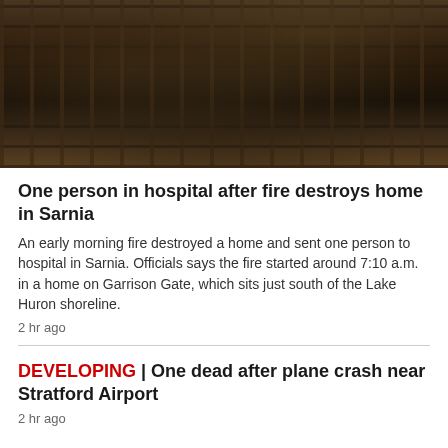[Figure (photo): Aerial or close-up view of a fire-destroyed building, showing charred dark debris, structural remains, and damage from a house fire.]
One person in hospital after fire destroys home in Sarnia
An early morning fire destroyed a home and sent one person to hospital in Sarnia. Officials says the fire started around 7:10 a.m. in a home on Garrison Gate, which sits just south of the Lake Huron shoreline.
2 hr ago
DEVELOPING | One dead after plane crash near Stratford Airport
2 hr ago